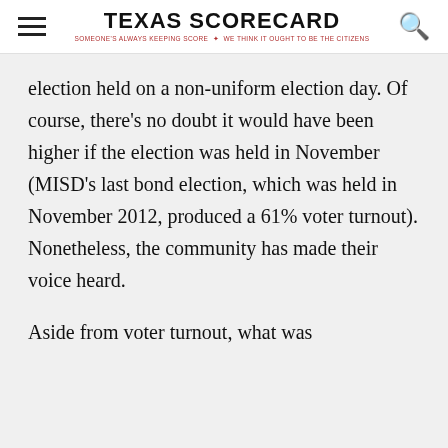TEXAS SCORECARD — SOMEONE'S ALWAYS KEEPING SCORE — WE THINK IT OUGHT TO BE THE CITIZENS
election held on a non-uniform election day. Of course, there's no doubt it would have been higher if the election was held in November (MISD's last bond election, which was held in November 2012, produced a 61% voter turnout). Nonetheless, the community has made their voice heard.
Aside from voter turnout, what was